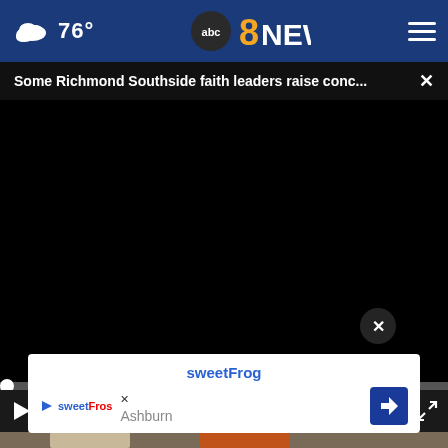76° abc8NEWS
Some Richmond Southside faith leaders raise conc... ×
[Figure (screenshot): Black video player area with progress bar showing 00:00, play button, mute button, caption button, and fullscreen button]
[Figure (photo): Partial thumbnail showing glass jar and orange baking soda box]
sweetFrog
Ashburn